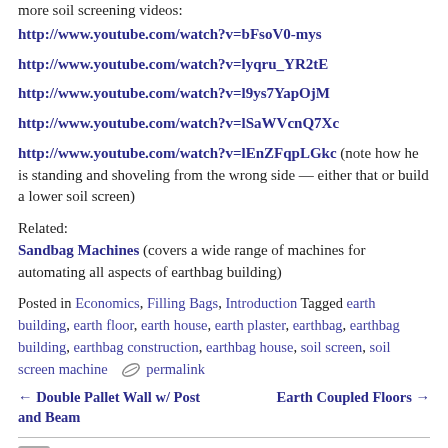more soil screening videos:
http://www.youtube.com/watch?v=bFsoV0-mys
http://www.youtube.com/watch?v=lyqru_YR2tE
http://www.youtube.com/watch?v=l9ys7YapOjM
http://www.youtube.com/watch?v=lSaWVcnQ7Xc
http://www.youtube.com/watch?v=lEnZFqpLGkc (note how he is standing and shoveling from the wrong side — either that or build a lower soil screen)
Related:
Sandbag Machines (covers a wide range of machines for automating all aspects of earthbag building)
Posted in Economics, Filling Bags, Introduction Tagged earth building, earth floor, earth house, earth plaster, earthbag, earthbag building, earthbag construction, earthbag house, soil screen, soil screen machine  permalink
← Double Pallet Wall w/ Post and Beam    Earth Coupled Floors →
Comments